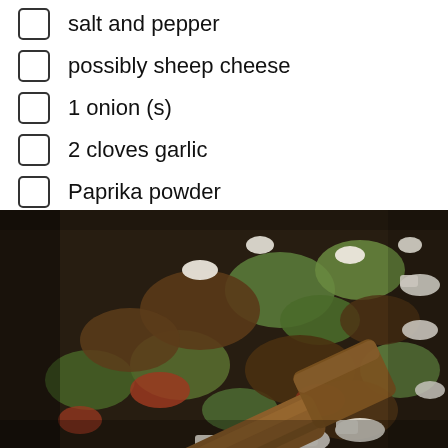salt and pepper
possibly sheep cheese
1 onion (s)
2 cloves garlic
Paprika powder
[Figure (photo): A frying pan with chopped zucchini, minced meat, tomatoes, and crumbled white sheep cheese being stirred with a wooden spatula.]